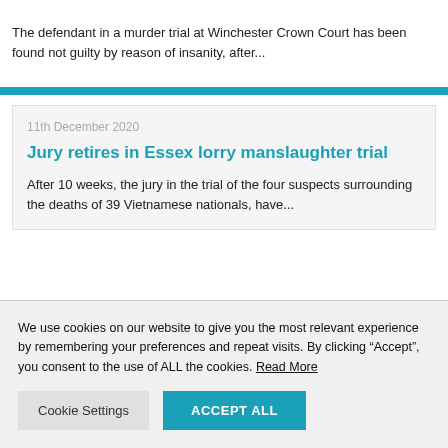The defendant in a murder trial at Winchester Crown Court has been found not guilty by reason of insanity, after...
11th December 2020
Jury retires in Essex lorry manslaughter trial
After 10 weeks, the jury in the trial of the four suspects surrounding the deaths of 39 Vietnamese nationals, have...
We use cookies on our website to give you the most relevant experience by remembering your preferences and repeat visits. By clicking “Accept”, you consent to the use of ALL the cookies. Read More